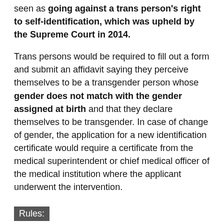seen as going against a trans person's right to self-identification, which was upheld by the Supreme Court in 2014.
Trans persons would be required to fill out a form and submit an affidavit saying they perceive themselves to be a transgender person whose gender does not match with the gender assigned at birth and that they declare themselves to be transgender. In case of change of gender, the application for a new identification certificate would require a certificate from the medical superintendent or chief medical officer of the medical institution where the applicant underwent the intervention.
Rules:
The appropriate government must:
review existing welfare measures and schemes to include